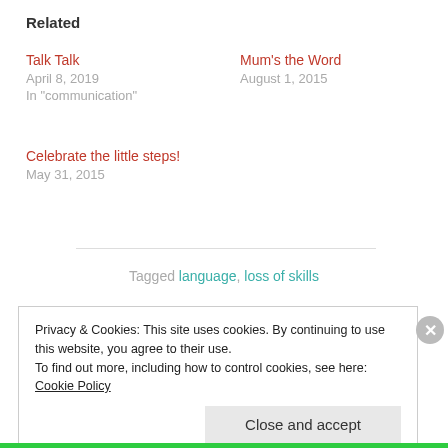Related
Talk Talk
April 8, 2019
In "communication"
Mum's the Word
August 1, 2015
Celebrate the little steps!
May 31, 2015
Tagged language, loss of skills
Privacy & Cookies: This site uses cookies. By continuing to use this website, you agree to their use.
To find out more, including how to control cookies, see here: Cookie Policy